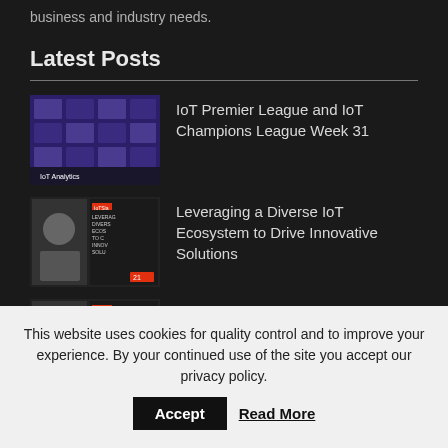business and industry needs.
Latest Posts
IoT Premier League and IoT Champions League Week 31
Leveraging a Diverse IoT Ecosystem to Drive Innovative Solutions
Dancing with Data Science at the Edge
This website uses cookies for quality control and to improve your experience. By your continued use of the site you accept our privacy policy.
Accept
Read More